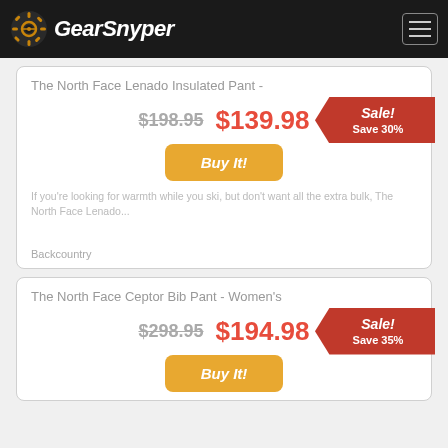GearSnyper
The North Face Lenado Insulated Pant -
Sale! Save 30%
$198.95 $139.98
Buy It!
If you're looking for warmth while you ski, but don't want all the extra bulk, The North Face Lenado...
Backcountry
The North Face Ceptor Bib Pant - Women's
Sale! Save 35%
$298.95 $194.98
Buy It!